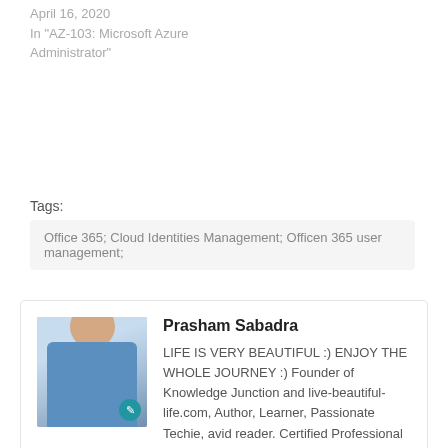April 16, 2020
In "AZ-103: Microsoft Azure Administrator"
Tags:
Office 365; Cloud Identities Management; Officen 365 user management;
Prasham Sabadra
LIFE IS VERY BEAUTIFUL :) ENJOY THE WHOLE JOURNEY :) Founder of Knowledge Junction and live-beautiful-life.com, Author, Learner, Passionate Techie, avid reader. Certified Professional Workshop Facilitator / Public Speaker. Scrum Foundation Professional certificated. Motivational, Behavioral , Technical